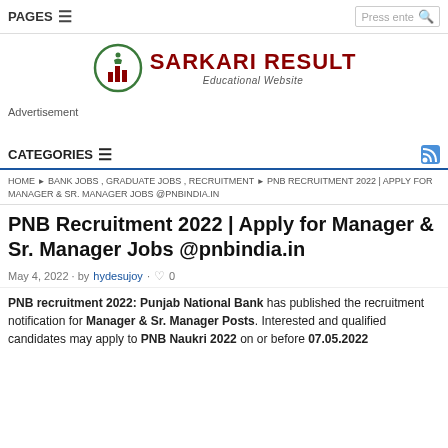PAGES ☰   Press enter  🔍
[Figure (logo): Sarkari Result logo with crescent and building icon, red text 'SARKARI RESULT', subtitle 'Educational Website']
Advertisement
CATEGORIES ☰
HOME ▶ BANK JOBS , GRADUATE JOBS , RECRUITMENT ▶ PNB RECRUITMENT 2022 | APPLY FOR MANAGER & SR. MANAGER JOBS @PNBINDIA.IN
PNB Recruitment 2022 | Apply for Manager & Sr. Manager Jobs @pnbindia.in
May 4, 2022 · by hydesujoy · 💬 0
PNB recruitment 2022: Punjab National Bank has published the recruitment notification for Manager & Sr. Manager Posts. Interested and qualified candidates may apply to PNB Naukri 2022 on or before 07.05.2022